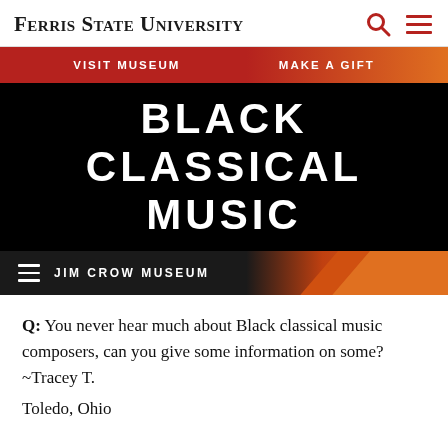Ferris State University
[Figure (screenshot): Navigation bar with 'VISIT MUSEUM' and 'MAKE A GIFT' links on red-to-orange gradient background]
BLACK CLASSICAL MUSIC
[Figure (screenshot): Jim Crow Museum navigation bar with hamburger menu icon on dark background with orange diagonal accent]
Q: You never hear much about Black classical music composers, can you give some information on some? ~Tracey T. Toledo, Ohio